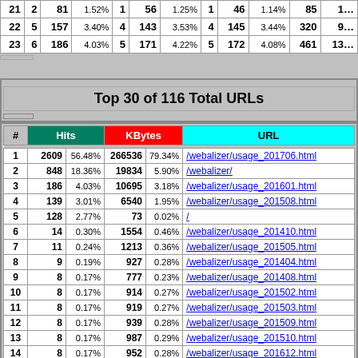|  |  |  |  |  |  |  |  |  |  |  |  |
| --- | --- | --- | --- | --- | --- | --- | --- | --- | --- | --- | --- |
| 21 | 2 | 81 | 1.52% | 1 | 56 | 1.25% | 1 | 46 | 1.14% | 85 | 1… |
| 22 | 5 | 157 | 3.40% | 4 | 143 | 3.53% | 4 | 145 | 3.44% | 320 | 9… |
| 23 | 6 | 186 | 4.03% | 5 | 171 | 4.22% | 5 | 172 | 4.08% | 461 | 13… |
Top 30 of 116 Total URLs
| # | Hits |  | KBytes |  | URL |
| --- | --- | --- | --- | --- | --- |
| 1 | 2609 | 56.48% | 266536 | 79.34% | /webalizer/usage_201706.html |
| 2 | 848 | 18.36% | 19834 | 5.90% | /webalizer/ |
| 3 | 186 | 4.03% | 10695 | 3.18% | /webalizer/usage_201601.html |
| 4 | 139 | 3.01% | 6540 | 1.95% | /webalizer/usage_201508.html |
| 5 | 128 | 2.77% | 73 | 0.02% | / |
| 6 | 14 | 0.30% | 1554 | 0.46% | /webalizer/usage_201410.html |
| 7 | 11 | 0.24% | 1213 | 0.36% | /webalizer/usage_201505.html |
| 8 | 9 | 0.19% | 927 | 0.28% | /webalizer/usage_201404.html |
| 9 | 8 | 0.17% | 777 | 0.23% | /webalizer/usage_201408.html |
| 10 | 8 | 0.17% | 914 | 0.27% | /webalizer/usage_201502.html |
| 11 | 8 | 0.17% | 919 | 0.27% | /webalizer/usage_201503.html |
| 12 | 8 | 0.17% | 939 | 0.28% | /webalizer/usage_201509.html |
| 13 | 8 | 0.17% | 987 | 0.29% | /webalizer/usage_201510.html |
| 14 | 8 | 0.17% | 952 | 0.28% | /webalizer/usage_201612.html |
| 15 | 7 | 0.15% | 612 | 0.18% | /webalizer/usage_201311.html |